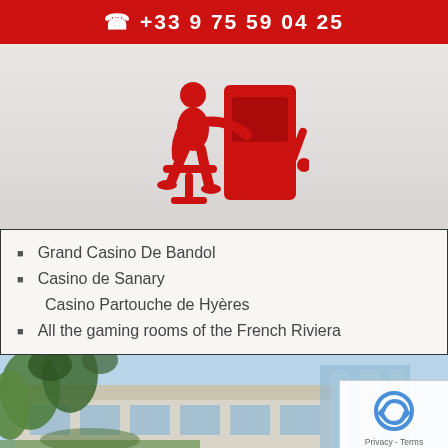☎ +33 9 75 59 04 25
[Figure (illustration): Red pictogram icon of a person sitting on a stool playing a slot machine]
Grand Casino De Bandol
Casino de Sanary
Casino Partouche de Hyères
All the gaming rooms of the French Riviera
[Figure (photo): Photo of a building with trees in foreground, appears to be a casino exterior]